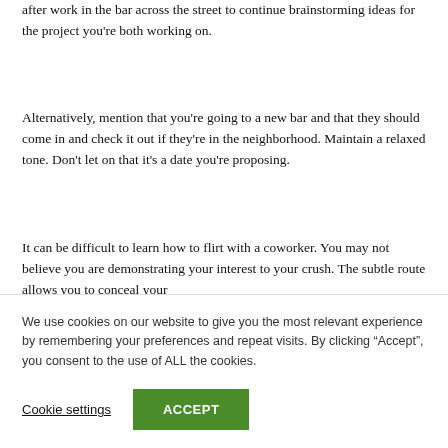after work in the bar across the street to continue brainstorming ideas for the project you're both working on.
Alternatively, mention that you're going to a new bar and that they should come in and check it out if they're in the neighborhood. Maintain a relaxed tone. Don't let on that it's a date you're proposing.
It can be difficult to learn how to flirt with a coworker. You may not believe you are demonstrating your interest to your crush. The subtle route allows you to conceal your
We use cookies on our website to give you the most relevant experience by remembering your preferences and repeat visits. By clicking “Accept”, you consent to the use of ALL the cookies.
Cookie settings
ACCEPT